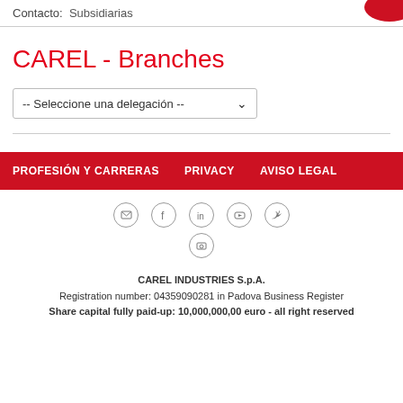Contacto:  Subsidiarias
CAREL - Branches
-- Seleccione una delegación --
PROFESIÓN Y CARRERAS   PRIVACY   AVISO LEGAL
CAREL INDUSTRIES S.p.A.
Registration number: 04359090281 in Padova Business Register
Share capital fully paid-up: 10,000,000,00 euro - all right reserved